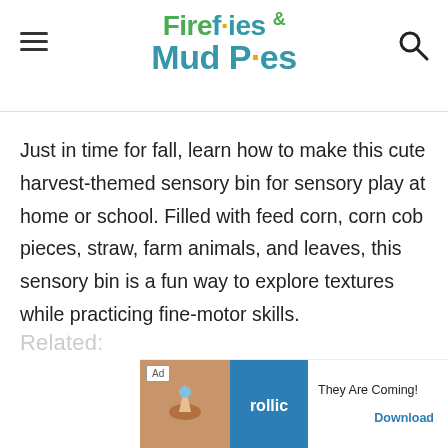Fireflies & Mud Pies
Just in time for fall, learn how to make this cute harvest-themed sensory bin for sensory play at home or school. Filled with feed corn, corn cob pieces, straw, farm animals, and leaves, this sensory bin is a fun way to explore textures while practicing fine-motor skills.
Related:
[Figure (screenshot): Advertisement banner for Rollic game app with 'They Are Coming!' tagline and Download button]